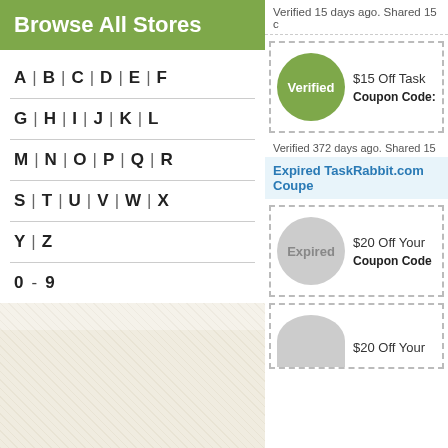Browse All Stores
A | B | C | D | E | F
G | H | I | J | K | L
M | N | O | P | Q | R
S | T | U | V | W | X
Y | Z
0 - 9
Verified 15 days ago. Shared 15 c
$15 Off Task
Verified
Coupon Code:
Verified 372 days ago. Shared 15
Expired TaskRabbit.com Coupe
$20 Off Your
Coupon Code
Expired
$20 Off Your